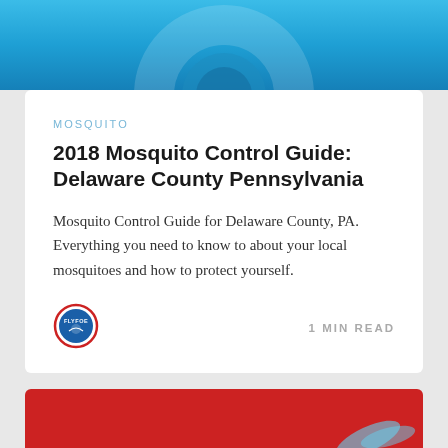[Figure (illustration): Blue gradient header image with circular mosquito illustration silhouette]
MOSQUITO
2018 Mosquito Control Guide: Delaware County Pennsylvania
Mosquito Control Guide for Delaware County, PA. Everything you need to know to about your local mosquitoes and how to protect yourself.
[Figure (logo): FlyFoe circular logo with red border]
1 MIN READ
[Figure (illustration): Red background card with mosquito illustration and text: Mosquitoes in Chester County What you need to know, PA badge at bottom]